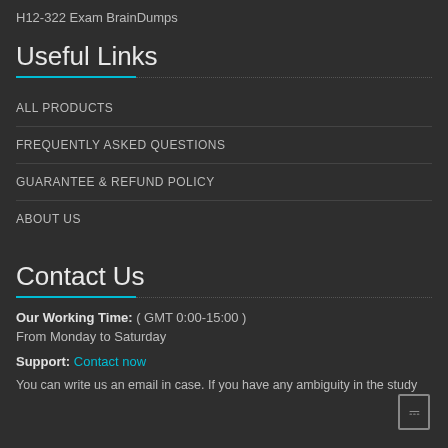H12-322 Exam BrainDumps
Useful Links
ALL PRODUCTS
FREQUENTLY ASKED QUESTIONS
GUARANTEE & REFUND POLICY
ABOUT US
Contact Us
Our Working Time: ( GMT 0:00-15:00 )
From Monday to Saturday
Support: Contact now
You can write us an email in case. If you have any ambiguity in the study